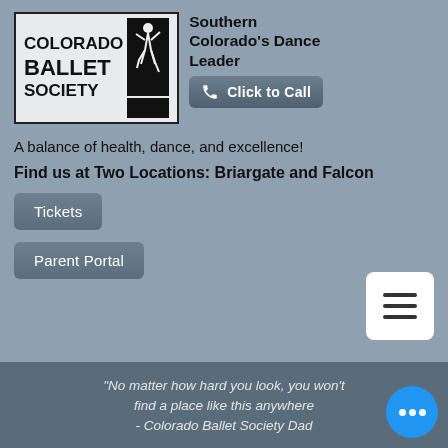[Figure (logo): Colorado Ballet Society logo with dancer silhouette]
Southern Colorado's Dance Leader
Click to Call
A balance of health, dance, and excellence!
Find us at Two Locations: Briargate and Falcon
Tickets
Parent Portal
"No matter how hard you look, you won't find a place like this anywhere - Colorado Ballet Society Dad